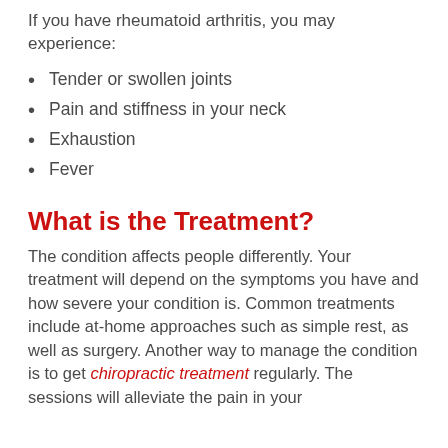If you have rheumatoid arthritis, you may experience:
Tender or swollen joints
Pain and stiffness in your neck
Exhaustion
Fever
What is the Treatment?
The condition affects people differently. Your treatment will depend on the symptoms you have and how severe your condition is. Common treatments include at-home approaches such as simple rest, as well as surgery. Another way to manage the condition is to get chiropractic treatment regularly. The sessions will alleviate the pain in your